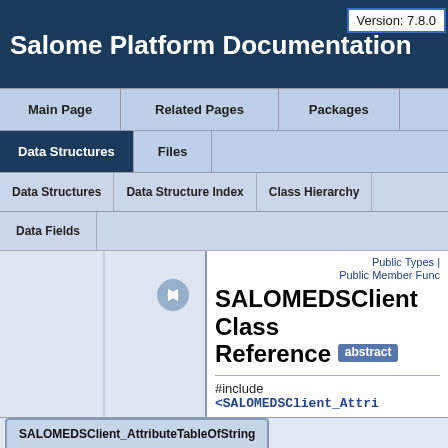Version: 7.8.0
Salome Platform Documentation
Main Page | Related Pages | Packages
Data Structures | Files
Data Structures | Data Structure Index | Class Hierarchy
Data Fields
Public Types | Public Member Func
SALOMEDSClient Class Reference abstract
#include <SALOMEDSClient_Attri
Inheritance diagram for
SALOMEDSClient_AttributeTableOfString